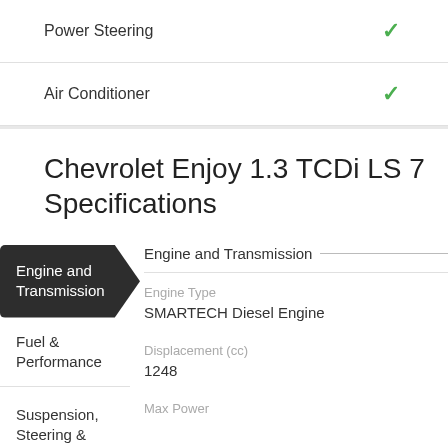Power Steering ✓
Air Conditioner ✓
Chevrolet Enjoy 1.3 TCDi LS 7 Specifications
Engine and Transmission
Engine Type
SMARTECH Diesel Engine
Displacement (cc)
1248
Max Power
Fuel & Performance
Suspension, Steering &